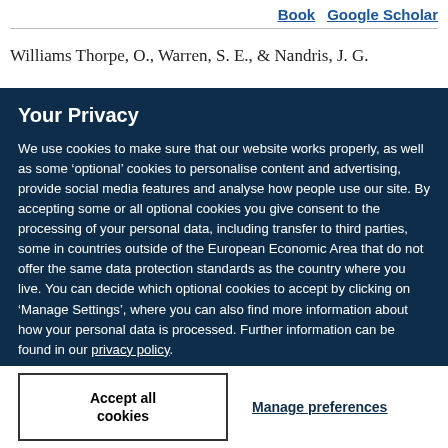Book  Google Scholar
Williams Thorpe, O., Warren, S. E., & Nandris, J. G.
Your Privacy
We use cookies to make sure that our website works properly, as well as some ‘optional’ cookies to personalise content and advertising, provide social media features and analyse how people use our site. By accepting some or all optional cookies you give consent to the processing of your personal data, including transfer to third parties, some in countries outside of the European Economic Area that do not offer the same data protection standards as the country where you live. You can decide which optional cookies to accept by clicking on ‘Manage Settings’, where you can also find more information about how your personal data is processed. Further information can be found in our privacy policy.
Accept all cookies
Manage preferences